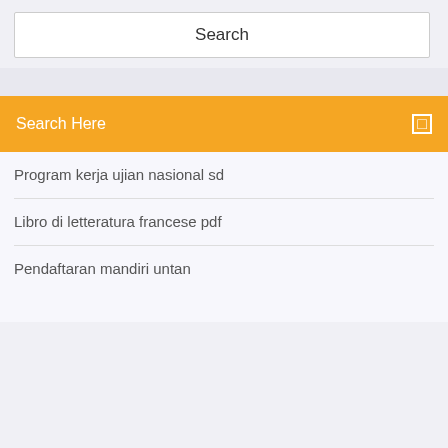[Figure (screenshot): Search box UI element with text 'Search' centered inside a white rectangle with border]
Search Here
Program kerja ujian nasional sd
Libro di letteratura francese pdf
Pendaftaran mandiri untan